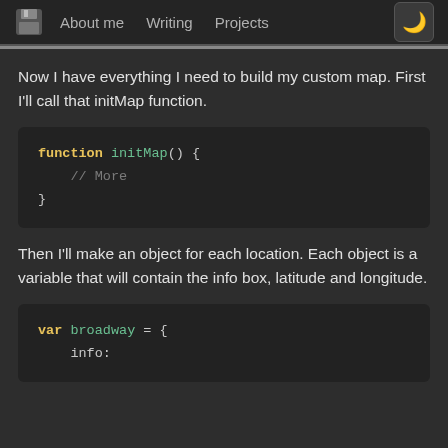About me   Writing   Projects
Now I have everything I need to build my custom map. First I'll call that initMap function.
[Figure (screenshot): Code block showing: function initMap() { // More }]
Then I'll make an object for each location. Each object is a variable that will contain the info box, latitude and longitude.
[Figure (screenshot): Code block showing: var broadway = { info:]